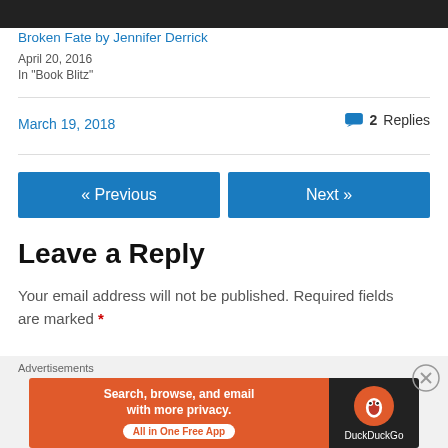[Figure (photo): Cropped top edge of a dark photo]
Broken Fate by Jennifer Derrick
April 20, 2016
In "Book Blitz"
March 19, 2018
2 Replies
« Previous
Next »
Leave a Reply
Your email address will not be published. Required fields are marked *
Advertisements
[Figure (screenshot): DuckDuckGo advertisement banner: orange left panel with text 'Search, browse, and email with more privacy. All in One Free App' and dark right panel with DuckDuckGo logo]